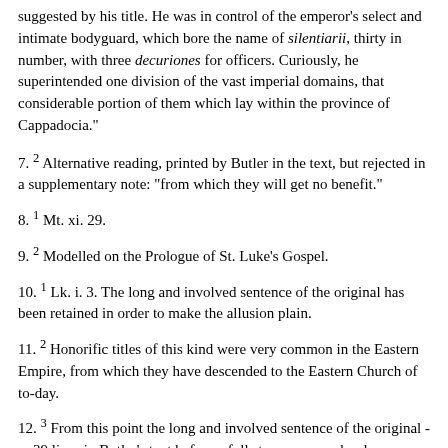suggested by his title. He was in control of the emperor's select and intimate bodyguard, which bore the name of silentiarii, thirty in number, with three decuriones for officers. Curiously, he superintended one division of the vast imperial domains, that considerable portion of them which lay within the province of Cappadocia."
7. 2 Alternative reading, printed by Butler in the text, but rejected in a supplementary note: "from which they will get no benefit."
8. 1 Mt. xi. 29.
9. 2 Modelled on the Prologue of St. Luke's Gospel.
10. 1 Lk. i. 3. The long and involved sentence of the original has been retained in order to make the allusion plain.
11. 2 Honorific titles of this kind were very common in the Eastern Empire, from which they have descended to the Eastern Church of to-day.
12. 3 From this point the long and involved sentence of the original ----39 lines in Butler's text before a full stop occurs----has been broken up.